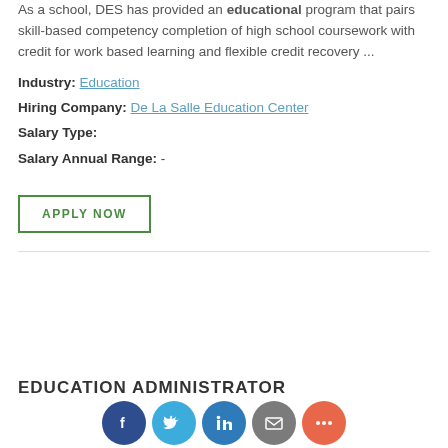As a school, DES has provided an educational program that pairs skill-based competency completion of high school coursework with credit for work based learning and flexible credit recovery ...
Industry: Education
Hiring Company: De La Salle Education Center
Salary Type:
Salary Annual Range: -
APPLY NOW
EDUCATION ADMINISTRATOR
[Figure (other): Social media sharing icons: Facebook, Twitter, LinkedIn, Email, More]